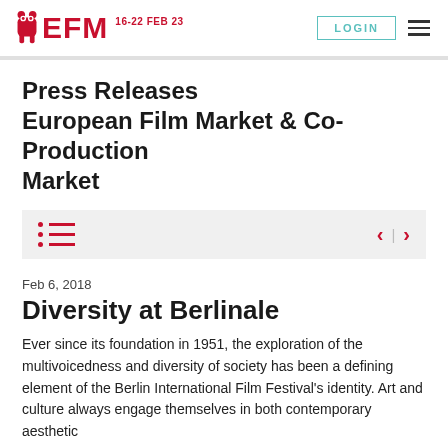EFM 16-22 FEB 23 | LOGIN
Press Releases European Film Market & Co-Production Market
[Figure (other): Filter/navigation bar with list icon on left and pagination chevrons on right]
Feb 6, 2018
Diversity at Berlinale
Ever since its foundation in 1951, the exploration of the multivoicedness and diversity of society has been a defining element of the Berlin International Film Festival's identity. Art and culture always engage themselves in both contemporary aesthetic